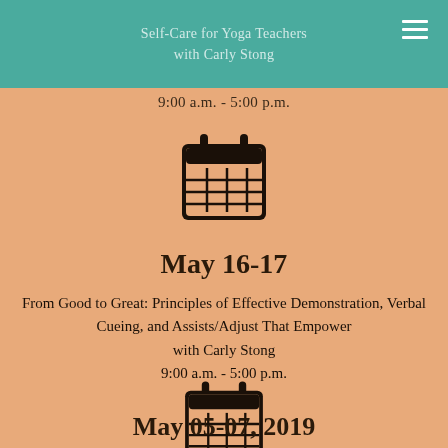Self-Care for Yoga Teachers with Carly Stong
9:00 a.m. - 5:00 p.m.
[Figure (illustration): Calendar icon - dark outline of a calendar with grid]
May 16-17
From Good to Great: Principles of Effective Demonstration, Verbal Cueing, and Assists/Adjust That Empower with Carly Stong
9:00 a.m. - 5:00 p.m.
[Figure (illustration): Calendar icon - dark outline of a calendar with grid]
May 05-07, 2019